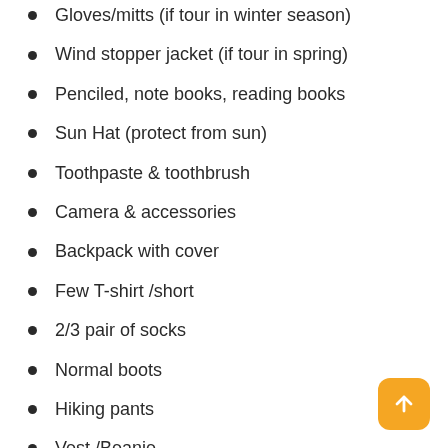Gloves/mitts (if tour in winter season)
Wind stopper jacket (if tour in spring)
Penciled, note books, reading books
Sun Hat (protect from sun)
Toothpaste & toothbrush
Camera & accessories
Backpack with cover
Few T-shirt /short
2/3 pair of socks
Normal boots
Hiking pants
Vest /Beanie
Head torch
Sunglasses
Sun block